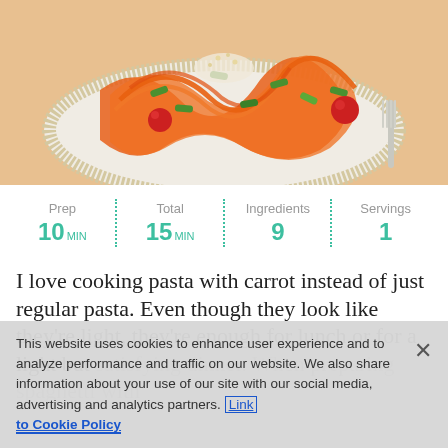[Figure (photo): A plate of carrot noodle pasta with green beans, cherry tomatoes, and grated cheese on a white plate with a fork.]
| Prep | Total | Ingredients | Servings |
| 10 MIN | 15 MIN | 9 | 1 |
I love cooking pasta with carrot instead of just regular pasta. Even though they look like they're light, they're enough for lunch or for a light but satisfying dinner. When preparing spaghetti with
This website uses cookies to enhance user experience and to analyze performance and traffic on our website. We also share information about your use of our site with our social media, advertising and analytics partners. Link to Cookie Policy